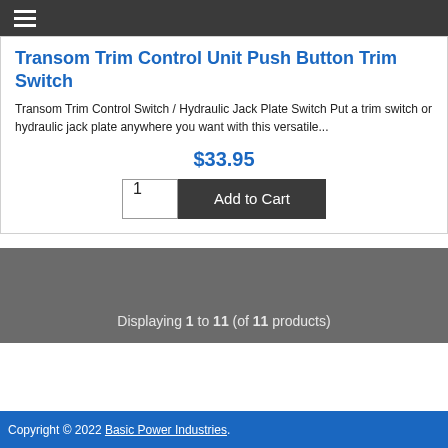☰
Transom Trim Control Unit Push Button Trim Switch
Transom Trim Control Switch / Hydraulic Jack Plate Switch Put a trim switch or hydraulic jack plate anywhere you want with this versatile...
$33.95
1  Add to Cart
Displaying 1 to 11 (of 11 products)
Copyright © 2022 Basic Power Industries.